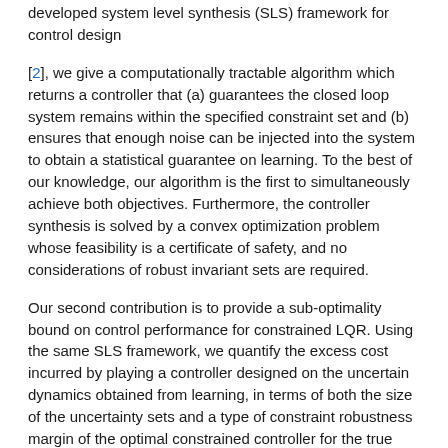developed system level synthesis (SLS) framework for control design
[2], we give a computationally tractable algorithm which returns a controller that (a) guarantees the closed loop system remains within the specified constraint set and (b) ensures that enough noise can be injected into the system to obtain a statistical guarantee on learning. To the best of our knowledge, our algorithm is the first to simultaneously achieve both objectives. Furthermore, the controller synthesis is solved by a convex optimization problem whose feasibility is a certificate of safety, and no considerations of robust invariant sets are required.
Our second contribution is to provide a sub-optimality bound on control performance for constrained LQR. Using the same SLS framework, we quantify the excess cost incurred by playing a controller designed on the uncertain dynamics obtained from learning, in terms of both the size of the uncertainty sets and a type of constraint robustness margin of the optimal constrained controller for the true system. This allows us to provide the first end-to-end sample complexity guarantee for the control of constrained systems.